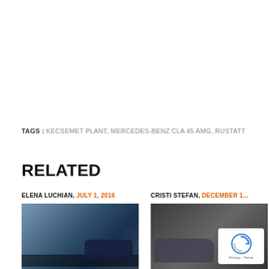TAGS : KECSEMET PLANT, MERCEDES-BENZ CLA 45 AMG, RUSTATT
RELATED
ELENA LUCHIAN, JULY 1, 2016
[Figure (photo): Rear view of a dark blue sedan car driving on a road]
CRISTI STEFAN, DECEMBER 1...
[Figure (photo): Side view of a dark grey SUV/crossover vehicle]